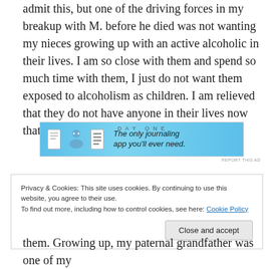admit this, but one of the driving forces in my breakup with M. before he died was not wanting my nieces growing up with an active alcoholic in their lives. I am so close with them and spend so much time with them, I just do not want them exposed to alcoholism as children. I am relieved that they do not have anyone in their lives now that drinks.
[Figure (screenshot): Advertisement banner for Day One journaling app with blue background, icons and text 'The only journaling app you'll ever need.']
Privacy & Cookies: This site uses cookies. By continuing to use this website, you agree to their use.
To find out more, including how to control cookies, see here: Cookie Policy
them. Growing up, my paternal grandfather was one of my